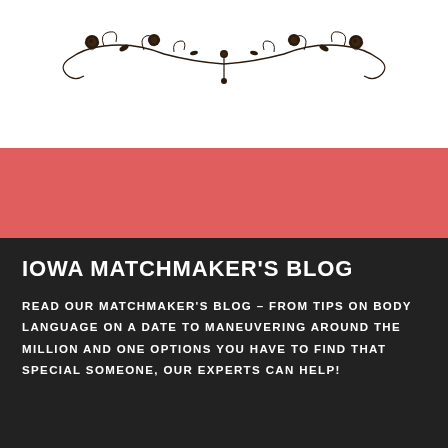[Figure (illustration): Decorative floral vine ornament with roses and curling tendrils, dark brown/black, symmetrical design centered at top of page]
IOWA MATCHMAKER'S BLOG
READ OUR MATCHMAKER'S BLOG – FROM TIPS ON BODY LANGUAGE ON A DATE TO MANEUVERING AROUND THE MILLION AND ONE OPTIONS YOU HAVE TO FIND THAT SPECIAL SOMEONE, OUR EXPERTS CAN HELP!